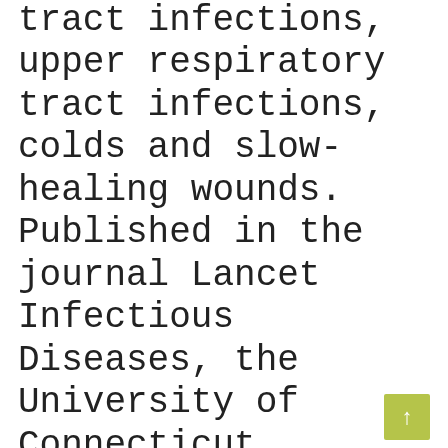tract infections, upper respiratory tract infections, colds and slow-healing wounds. Published in the journal Lancet Infectious Diseases, the University of Connecticut performed a meta-analysis study that evaluated 14 studies and determined that: Echinacea cuts the chances of catching a common cold by 58 percent. Echinacea reduces the duration